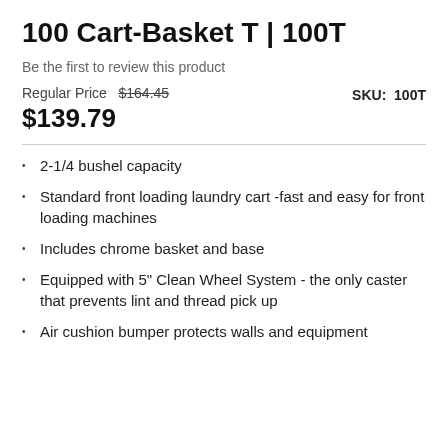100 Cart-Basket T | 100T
Be the first to review this product
Regular Price  $164.45
$139.79
SKU:  100T
2-1/4 bushel capacity
Standard front loading laundry cart -fast and easy for front loading machines
Includes chrome basket and base
Equipped with 5" Clean Wheel System - the only caster that prevents lint and thread pick up
Air cushion bumper protects walls and equipment